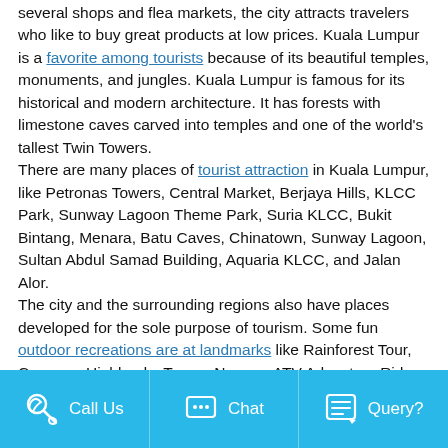several shops and flea markets, the city attracts travelers who like to buy great products at low prices. Kuala Lumpur is a favorite among tourists because of its beautiful temples, monuments, and jungles. Kuala Lumpur is famous for its historical and modern architecture. It has forests with limestone caves carved into temples and one of the world's tallest Twin Towers.
There are many places of tourist attraction in Kuala Lumpur, like Petronas Towers, Central Market, Berjaya Hills, KLCC Park, Sunway Lagoon Theme Park, Suria KLCC, Bukit Bintang, Menara, Batu Caves, Chinatown, Sunway Lagoon, Sultan Abdul Samad Building, Aquaria KLCC, and Jalan Alor.
The city and the surrounding regions also have places developed for the sole purpose of tourism. Some fun outdoor recreations are at landmarks like Rainforest Tour, Cameron Highlands, Taman Negara, ATV Adventure Ride Park, and Tadom Hill Resort.
Call Us   Chat   Query?